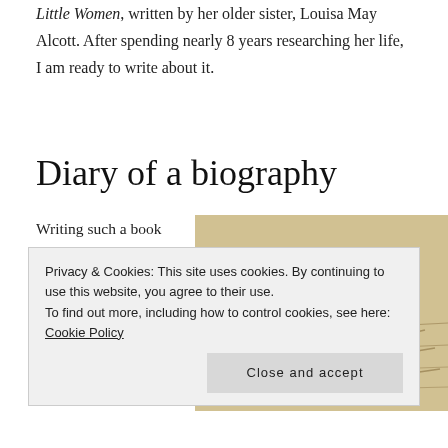Little Women, written by her older sister, Louisa May Alcott. After spending nearly 8 years researching her life, I am ready to write about it.
Diary of a biography
Writing such a book can take years to complete and the enormity of the task is overwhelming
[Figure (photo): Close-up photograph of a gold-nibbed fountain pen resting on aged handwritten cursive script on yellowed paper.]
Privacy & Cookies: This site uses cookies. By continuing to use this website, you agree to their use.
To find out more, including how to control cookies, see here: Cookie Policy
Close and accept